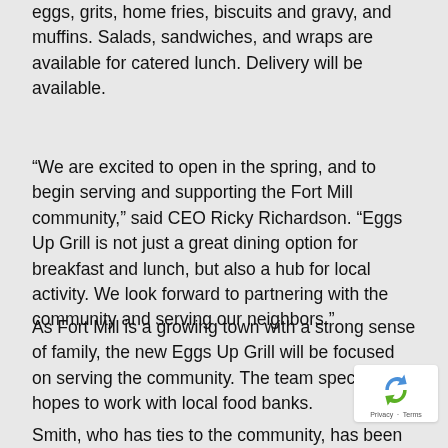eggs, grits, home fries, biscuits and gravy, and muffins. Salads, sandwiches, and wraps are available for catered lunch. Delivery will be available.
“We are excited to open in the spring, and to begin serving and supporting the Fort Mill community,” said CEO Ricky Richardson. “Eggs Up Grill is not just a great dining option for breakfast and lunch, but also a hub for local activity. We look forward to partnering with the community and serving our neighbors.”
As Fort Mill is a growing town with a strong sense of family, the new Eggs Up Grill will be focused on serving the community. The team specifically hopes to work with local food banks.
Smith, who has ties to the community, has been